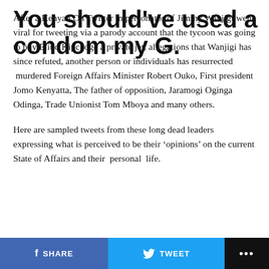After a Kenyan On Twitter impersonator of Jimmy Wanjigi went viral for tweeting via a parody account that the tycoon was going to buy Eliud Kipchoge a private jet, allegations that Wanjigi has since refuted, another person or individuals has resurrected  murdered Foreign Affairs Minister Robert Ouko, First president Jomo Kenyatta, The father of opposition, Jaramogi Oginga Odinga, Trade Unionist Tom Mboya and many others.
Here are sampled tweets from these long dead leaders expressing what is perceived to be their 'opinions' on the current State of Affairs and their  personal  life.
You should've used a condom my G.
SHARE  TWEET  ...